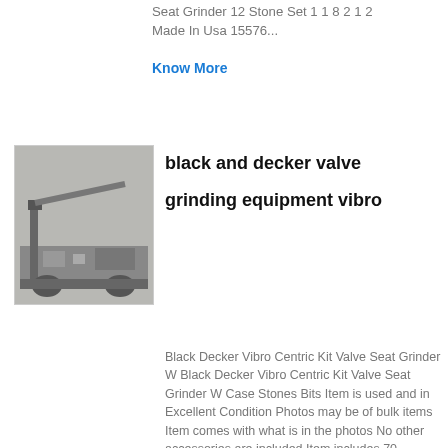Seat Grinder 12 Stone Set 1 1 8 2 1 2 Made In Usa 15576...
Know More
[Figure (photo): Industrial grinding/crane machine equipment photo]
black and decker valve grinding equipment vibro
Black Decker Vibro Centric Kit Valve Seat Grinder W Black Decker Vibro Centric Kit Valve Seat Grinder W Case Stones Bits Item is used and in Excellent Condition Photos may be of bulk items Item comes with what is in the photos No other accessories are included Item includes 70 Grinding Stones Handbook for Import and Domestic vehicles up to year 1975 included And ,...
Know More
[Figure (photo): Circular valve grinding equipment with golden center]
Black And Decker Valve Grinding Equipment Vibro